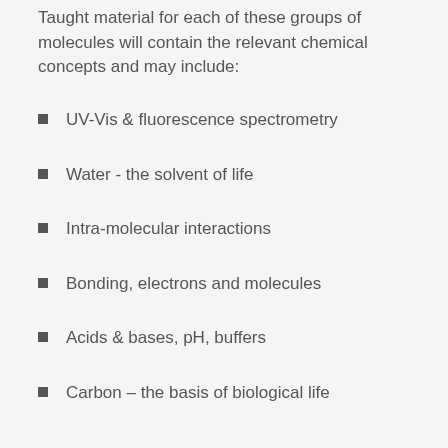Taught material for each of these groups of molecules will contain the relevant chemical concepts and may include:
UV-Vis & fluorescence spectrometry
Water - the solvent of life
Intra-molecular interactions
Bonding, electrons and molecules
Acids & bases, pH, buffers
Carbon – the basis of biological life